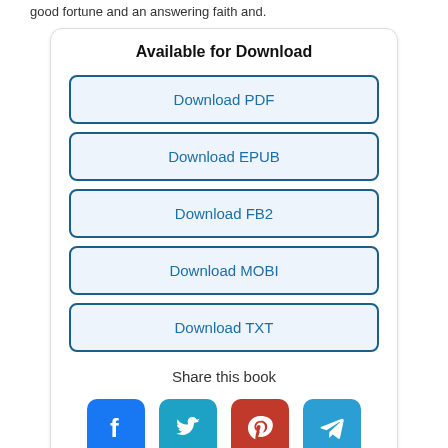good fortune and an answering faith and.
Available for Download
Download PDF
Download EPUB
Download FB2
Download MOBI
Download TXT
Share this book
[Figure (infographic): Social sharing icons: Facebook (blue), Twitter (teal), Pinterest (red), Telegram (blue)]